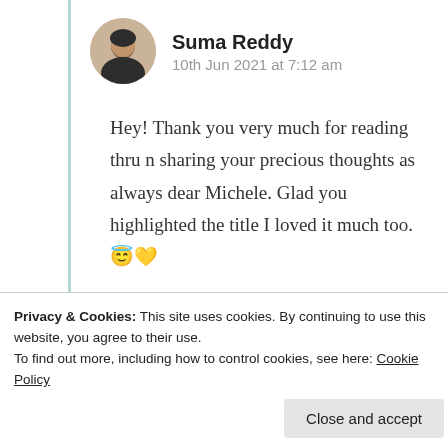[Figure (photo): Circular avatar photo of Suma Reddy]
Suma Reddy
10th Jun 2021 at 7:12 am
Hey! Thank you very much for reading thru n sharing your precious thoughts as always dear Michele. Glad you highlighted the title I loved it much too. 😇💛
★ Liked by 1 person
Log in to Reply
Privacy & Cookies: This site uses cookies. By continuing to use this website, you agree to their use.
To find out more, including how to control cookies, see here: Cookie Policy
Close and accept